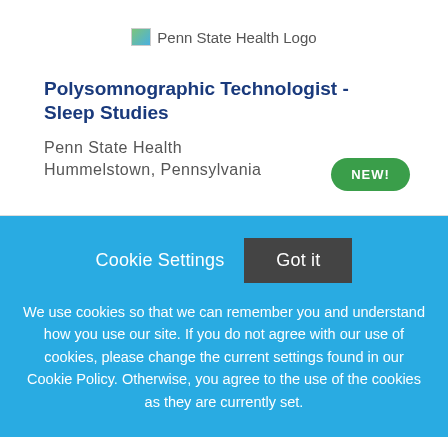[Figure (logo): Penn State Health Logo placeholder image]
Polysomnographic Technologist - Sleep Studies
Penn State Health
Hummelstown, Pennsylvania
NEW!
Cookie Settings   Got it
We use cookies so that we can remember you and understand how you use our site. If you do not agree with our use of cookies, please change the current settings found in our Cookie Policy. Otherwise, you agree to the use of the cookies as they are currently set.